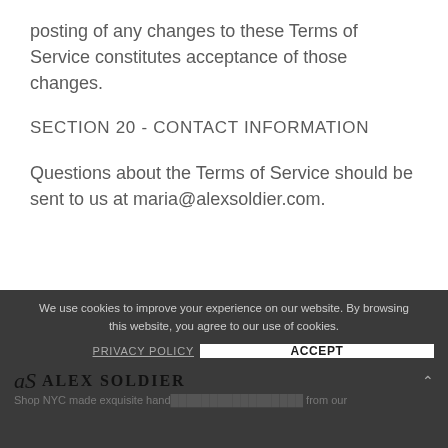posting of any changes to these Terms of Service constitutes acceptance of those changes.
SECTION 20 - CONTACT INFORMATION
Questions about the Terms of Service should be sent to us at maria@alexsoldier.com.
We use cookies to improve your experience on our website. By browsing this website, you agree to our use of cookies.
[Figure (logo): Alex Soldier brand logo with stylized AS monogram and brand name]
Shop NYC made exquisite handcrafted jewelry. Unique pieces from our